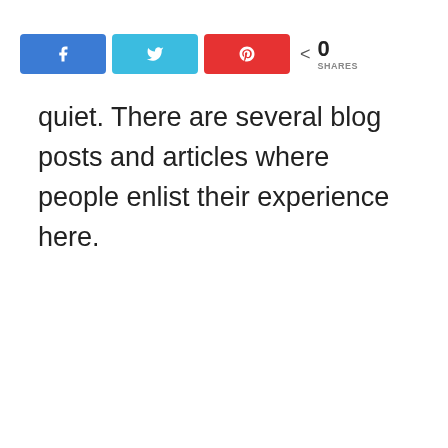[Figure (other): Social share bar with Facebook, Twitter, and Pinterest buttons, and a share count showing 0 SHARES]
quiet. There are several blog posts and articles where people enlist their experience here.